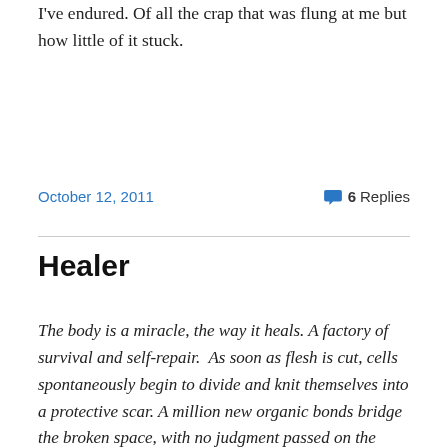I've endured. Of all the crap that was flung at me but how little of it stuck.
October 12, 2011
6 Replies
Healer
The body is a miracle, the way it heals. A factory of survival and self-repair.  As soon as flesh is cut, cells spontaneously begin to divide and knit themselves into a protective scar. A million new organic bonds bridge the broken space, with no judgment passed on the method of injury.